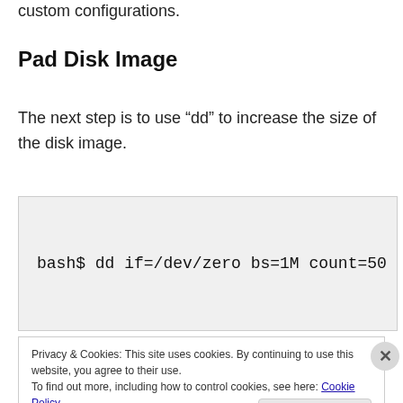custom configurations.
Pad Disk Image
The next step is to use “dd” to increase the size of the disk image.
Privacy & Cookies: This site uses cookies. By continuing to use this website, you agree to their use.
To find out more, including how to control cookies, see here: Cookie Policy